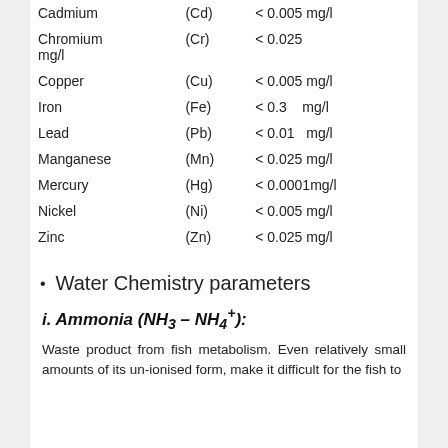| Element | Symbol | Value |
| --- | --- | --- |
| Cadmium | (Cd) | < 0.005 mg/l |
| Chromium | (Cr) | < 0.025 mg/l |
| Copper | (Cu) | < 0.005 mg/l |
| Iron | (Fe) | < 0.3    mg/l |
| Lead | (Pb) | < 0.01  mg/l |
| Manganese | (Mn) | < 0.025 mg/l |
| Mercury | (Hg) | < 0.0001mg/l |
| Nickel | (Ni) | < 0.005 mg/l |
| Zinc | (Zn) | < 0.025 mg/l |
Water Chemistry parameters
i. Ammonia (NH3 – NH4+):
Waste product from fish metabolism. Even relatively small amounts of its un-ionised form, make it difficult for the fish to